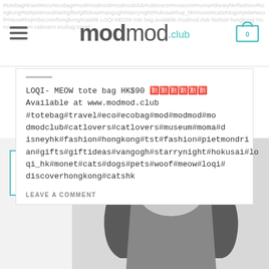modmod.club
LOQI- MEOW tote bag HK$90 🈹🈹🈹🈹🈹🈹 Available at www.modmod.club #totebag#travel#eco#ecobag#mod#modmod#modmodclub#catlovers#catlovers#museum#moma#disneyhk#fashion#hongkong#tst#fashion#pietmondrian#gifts#giftideas#vangogh#starrynight#hokusai#loqi_hk#monet#cats#dogs#pets#woof#meow#loqi#discoverhongkong#catshk
LEAVE A COMMENT
07 MAR
[Figure (photo): Close-up photo of a dark grey/charcoal tote bag handles and upper portion against a light grey background]